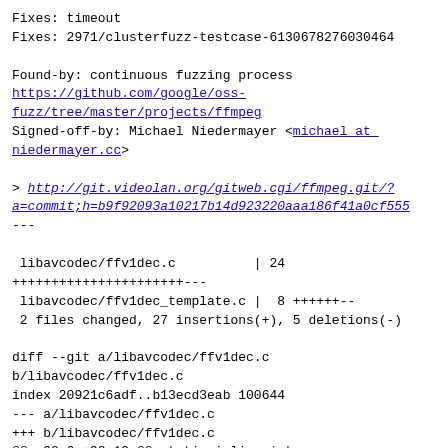Fixes: timeout
Fixes: 2971/clusterfuzz-testcase-6130678276030464

Found-by: continuous fuzzing process
https://github.com/google/oss-fuzz/tree/master/projects/ffmpeg
Signed-off-by: Michael Niedermayer <michael at niedermayer.cc>

> http://git.videolan.org/gitweb.cgi/ffmpeg.git/?a=commit;h=b9f92093a10217b14d923220aaa186f41a0cf555
---

 libavcodec/ffv1dec.c          | 24
+++++++++++++++++++++---
 libavcodec/ffv1dec_template.c |  8 ++++++--
 2 files changed, 27 insertions(+), 5 deletions(-)

diff --git a/libavcodec/ffv1dec.c
b/libavcodec/ffv1dec.c
index 20921c6adf..b13ecd3eab 100644
--- a/libavcodec/ffv1dec.c
+++ b/libavcodec/ffv1dec.c
@@ -93,6 +93,19 @@ static inline int
get_vlc_symbol(GetBitContext *gb, VlcState *const state,
        return ret;
 }

+static int is_input_end(FFV1Context *s)